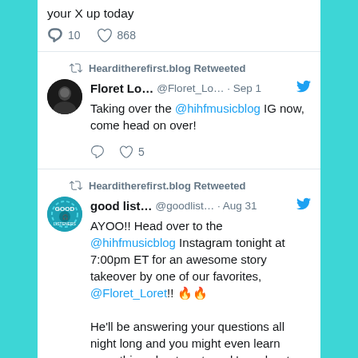your X up today
10 replies · 868 likes
Hearditherefirst.blog Retweeted
Floret Lo... @Floret_Lo... · Sep 1
Taking over the @hihfmusicblog IG now, come head on over!
5 likes
Hearditherefirst.blog Retweeted
good list... @goodlist... · Aug 31
AYOO!! Head over to the @hihfmusicblog Instagram tonight at 7:00pm ET for an awesome story takeover by one of our favorites, @Floret_Loret!! 🔥🔥

He'll be answering your questions all night long and you might even learn something about next week's podcast episode...